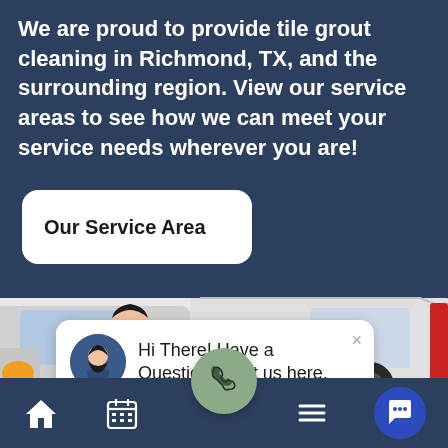We are proud to provide tile grout cleaning in Richmond, TX, and the surrounding region. View our service areas to see how we can meet your service needs wherever you are!
Our Service Area
[Figure (illustration): A white service van illustration with a company logo on the side, partially visible, with a cartoon technician character visible in the driver window area.]
Hi There! Have a Question? Text us here.
[Figure (infographic): Bottom navigation bar with home, calendar, phone (center FAB), hamburger menu, and chat bubble icons on a dark navy background.]